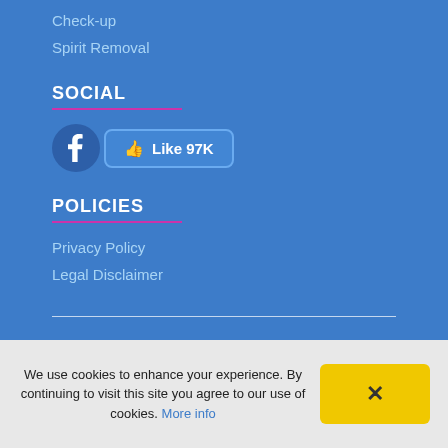Check-up
Spirit Removal
SOCIAL
[Figure (other): Facebook like button showing 97K likes]
POLICIES
Privacy Policy
Legal Disclaimer
We use cookies to enhance your experience. By continuing to visit this site you agree to our use of cookies. More info